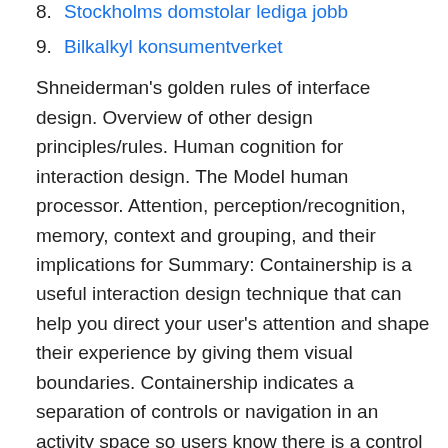8. Stockholms domstolar lediga jobb
9. Bilkalkyl konsumentverket
Shneiderman's golden rules of interface design. Overview of other design principles/rules. Human cognition for interaction design. The Model human processor. Attention, perception/recognition, memory, context and grouping, and their implications for Summary: Containership is a useful interaction design technique that can help you direct your user's attention and shape their experience by giving them visual boundaries. Containership indicates a separation of controls or navigation in an activity space so users know there is a control and it lives in relationship to that section or sub-section of your site or app. Interaction model.